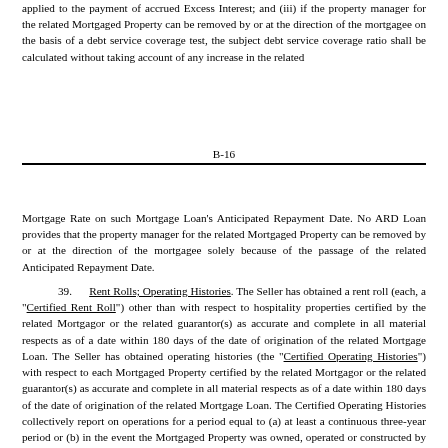applied to the payment of accrued Excess Interest; and (iii) if the property manager for the related Mortgaged Property can be removed by or at the direction of the mortgagee on the basis of a debt service coverage test, the subject debt service coverage ratio shall be calculated without taking account of any increase in the related
B-16
Mortgage Rate on such Mortgage Loan's Anticipated Repayment Date. No ARD Loan provides that the property manager for the related Mortgaged Property can be removed by or at the direction of the mortgagee solely because of the passage of the related Anticipated Repayment Date.
39. Rent Rolls; Operating Histories. The Seller has obtained a rent roll (each, a "Certified Rent Roll") other than with respect to hospitality properties certified by the related Mortgagor or the related guarantor(s) as accurate and complete in all material respects as of a date within 180 days of the date of origination of the related Mortgage Loan. The Seller has obtained operating histories (the "Certified Operating Histories") with respect to each Mortgaged Property certified by the related Mortgagor or the related guarantor(s) as accurate and complete in all material respects as of a date within 180 days of the date of origination of the related Mortgage Loan. The Certified Operating Histories collectively report on operations for a period equal to (a) at least a continuous three-year period or (b) in the event the Mortgaged Property was owned, operated or constructed by the Mortgagor or an affiliate for less than